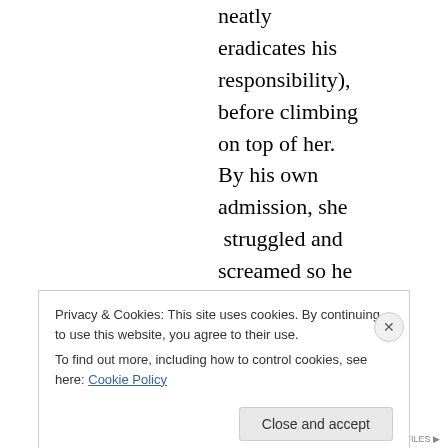neatly eradicates his responsibility), before climbing on top of her. By his own admission, she struggled and screamed so he put his left hand over her mouth
Privacy & Cookies: This site uses cookies. By continuing to use this website, you agree to their use.
To find out more, including how to control cookies, see here: Cookie Policy